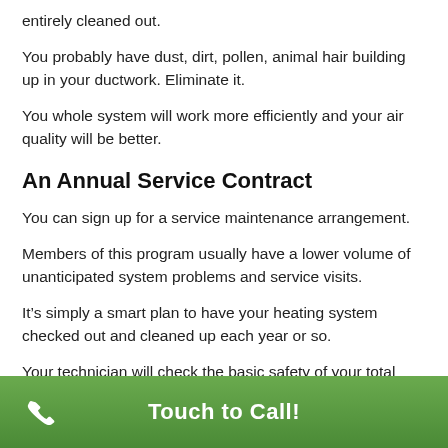entirely cleaned out.
You probably have dust, dirt, pollen, animal hair building up in your ductwork. Eliminate it.
You whole system will work more efficiently and your air quality will be better.
An Annual Service Contract
You can sign up for a service maintenance arrangement.
Members of this program usually have a lower volume of unanticipated system problems and service visits.
It’s simply a smart plan to have your heating system checked out and cleaned up each year or so.
Your technician will check the basic safety of your total HVAC system.
Touch to Call!